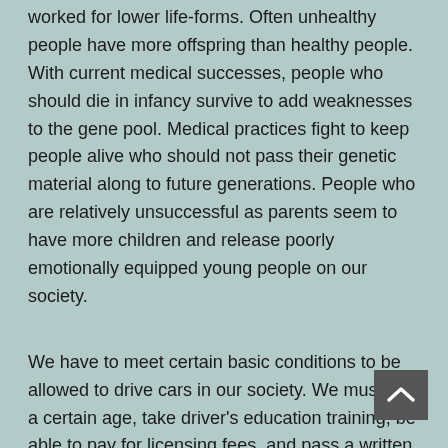worked for lower life-forms. Often unhealthy people have more offspring than healthy people. With current medical successes, people who should die in infancy survive to add weaknesses to the gene pool. Medical practices fight to keep people alive who should not pass their genetic material along to future generations. People who are relatively unsuccessful as parents seem to have more children and release poorly emotionally equipped young people on our society.
We have to meet certain basic conditions to be allowed to drive cars in our society. We must be a certain age, take driver's education training, be able to pay for licensing fees, and pass a written test and demonstrate basic competence behind the wheel to receive our license to drive on the roads. It is true that people who do not have drivers licenses or auto insurance are out there driving, but the legal system attempts to [cut off]